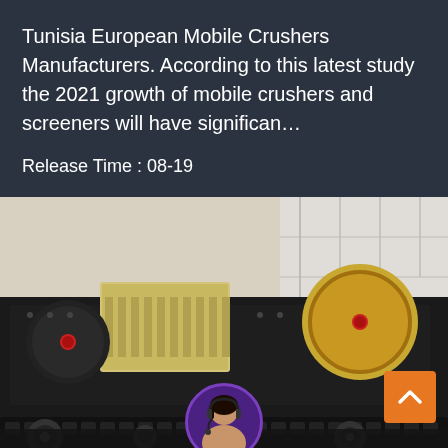Tunisia European Mobile Crushers Manufacturers. According to this latest study the 2021 growth of mobile crushers and screeners will have significan…
Release Time : 08-19
[Figure (photo): Large mobile crusher machine with black tracks on factory floor, showing dual flywheel assemblies and jaw crusher mechanism]
Leave Message
Chat Online